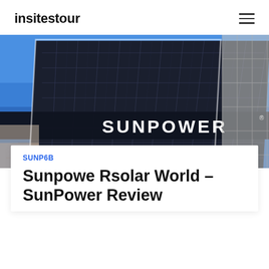insitestour
[Figure (photo): A large building facade covered with dark blue SunPower solar panels against a bright blue sky. The word 'SUNPOWER' is displayed prominently in white text on a dark band across the middle of the panel array.]
SUNP6B
Sunpowe Rsolar World – SunPower Review